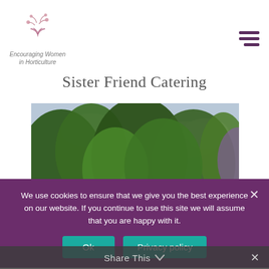[Figure (logo): Encouraging Women in Horticulture logo with floral/plant illustration above text]
Sister Friend Catering
[Figure (photo): Outdoor garden photograph showing large trees with green foliage against a partly cloudy sky, with lawn visible at the bottom]
We use cookies to ensure that we give you the best experience on our website. If you continue to use this site we will assume that you are happy with it.
Ok
Privacy policy
Share This